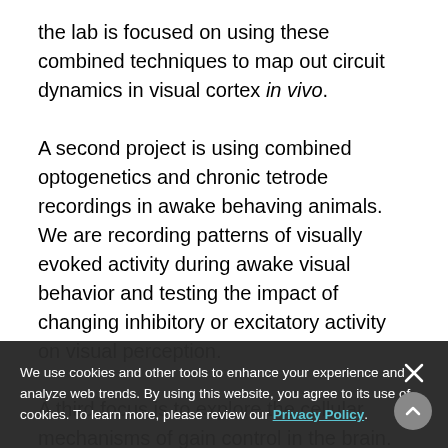the lab is focused on using these combined techniques to map out circuit dynamics in visual cortex in vivo.
A second project is using combined optogenetics and chronic tetrode recordings in awake behaving animals. We are recording patterns of visually evoked activity during awake visual behavior and testing the impact of changing inhibitory or excitatory activity on visual perception.
A third focus is to explore the cellular mechanisms of gain control in the brain. Gain is the amplification of inputs into outputs, and can be thought of as the 'gain' of neurons. Gain modulation allows neurons to scale their output to any range of incoming inputs. This
We use cookies and other tools to enhance your experience and analyze web trends. By using this website, you agree to its use of cookies. To learn more, please review our Privacy Policy.